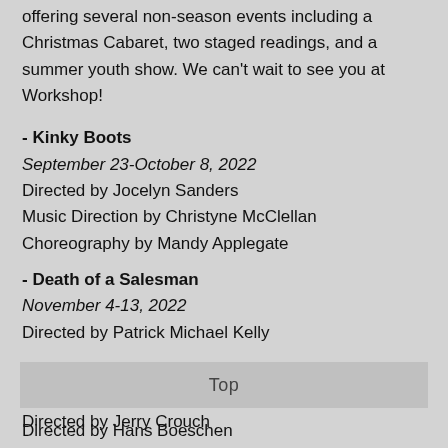offering several non-season events including a Christmas Cabaret, two staged readings, and a summer youth show. We can't wait to see you at Workshop!
- Kinky Boots
September 23-October 8, 2022
Directed by Jocelyn Sanders
Music Direction by Christyne McClellan
Choreography by Mandy Applegate
- Death of a Salesman
November 4-13, 2022
Directed by Patrick Michael Kelly
- Torch Song
January 20-29, 2023
Directed by Jerry Crouch
- A Chorus Line
Top
Directed by Hans Boeschen